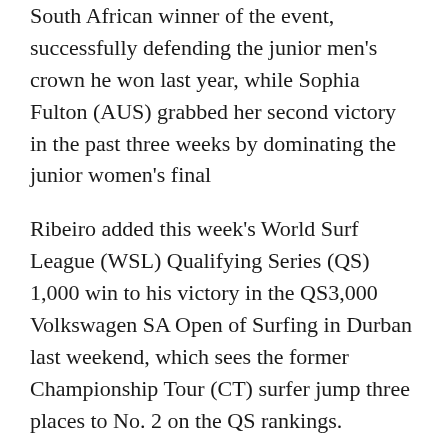South African winner of the event, successfully defending the junior men's crown he won last year, while Sophia Fulton (AUS) grabbed her second victory in the past three weeks by dominating the junior women's final
Ribeiro added this week's World Surf League (WSL) Qualifying Series (QS) 1,000 win to his victory in the QS3,000 Volkswagen SA Open of Surfing in Durban last weekend, which sees the former Championship Tour (CT) surfer jump three places to No. 2 on the QS rankings.
Up against close friend and travelling companion Marcos Correa (BRA) in the final, Ribeiro shot into a commanding lead as a growing swell pushed the wave heights up to two metres. Finding the only high scoring left breaking wave of the event, an 8.67, Ribeiro had his opponent in a combination situation within 10 minutes and Correa still needed 15.68 points when the 25 minute heat ended.